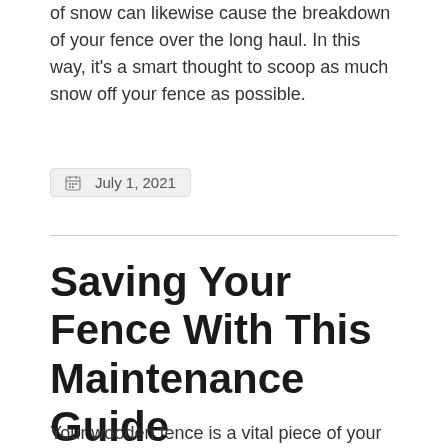of snow can likewise cause the breakdown of your fence over the long haul. In this way, it's a smart thought to scoop as much snow off your fence as possible.
July 1, 2021
Saving Your Fence With This Maintenance Guide
Your wooden fence is a vital piece of your yard and